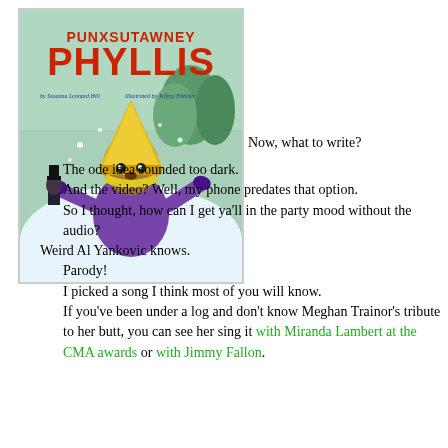[Figure (illustration): Book cover of 'Punxsutawney Phyllis' by Susanna Leonard Hill, illustrated by Jeffrey Ebbeler. Shows a groundhog in a purple coat and yellow cone hat with arms outstretched in a snowy scene.]
Now, what to write?
The ode idea sounded too dark.
And the video? Well, my phone predates that option.
So I thought, how can I get ya'll in the party mood without the audio?
Weird Al Yankovic knows.
Parody!
I picked a song I think most of you will know.
If you've been under a log and don't know Meghan Trainor's tribute to her butt, you can see her sing it with Miranda Lambert at the CMA awards or with Jimmy Fallon.